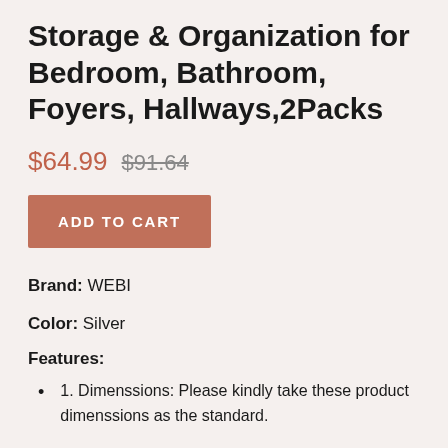Storage & Organization for Bedroom, Bathroom, Foyers, Hallways,2Packs
$64.99 $91.64
ADD TO CART
Brand: WEBI
Color: Silver
Features:
1. Dimenssions: Please kindly take these product dimenssions as the standard.